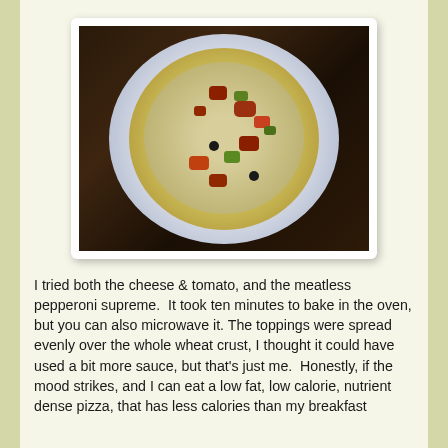[Figure (photo): A pizza with meatless toppings including vegetables (green peppers), tomatoes, and meatless pepperoni on a whole wheat crust, served on a white plate with blue decorative border pattern, photographed from above on a table.]
I tried both the cheese & tomato, and the meatless pepperoni supreme.  It took ten minutes to bake in the oven, but you can also microwave it. The toppings were spread evenly over the whole wheat crust, I thought it could have used a bit more sauce, but that's just me.  Honestly, if the mood strikes, and I can eat a low fat, low calorie, nutrient dense pizza, that has less calories than my breakfast something, but the checkout?